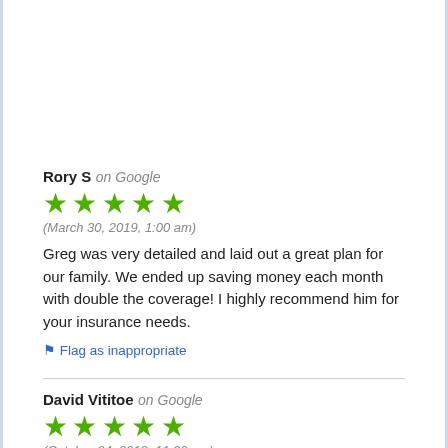Rory S on Google
[Figure (other): 5 green stars rating]
(March 30, 2019, 1:00 am)
Greg was very detailed and laid out a great plan for our family. We ended up saving money each month with double the coverage! I highly recommend him for your insurance needs.
⚑ Flag as inappropriate
David Vititoe on Google
[Figure (other): 5 green stars rating]
(October 24, 2018, 11:00 pm)